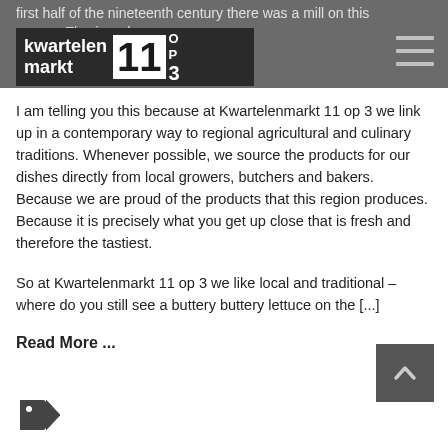first half of the nineteenth century there was a mill on this source. The ... ir and pepper.
[Figure (logo): Kwartelenmarkt 11 op 3 logo — dark background with bold text 'kwartelen markt' and large number '11' with 'op 3' beside it]
I am telling you this because at Kwartelenmarkt 11 op 3 we link up in a contemporary way to regional agricultural and culinary traditions. Whenever possible, we source the products for our dishes directly from local growers, butchers and bakers. Because we are proud of the products that this region produces. Because it is precisely what you get up close that is fresh and therefore the tastiest.
So at Kwartelenmarkt 11 op 3 we like local and traditional – where do you still see a buttery buttery lettuce on the [...]
Read More ...
[Figure (illustration): Price tag / label icon in dark gray]